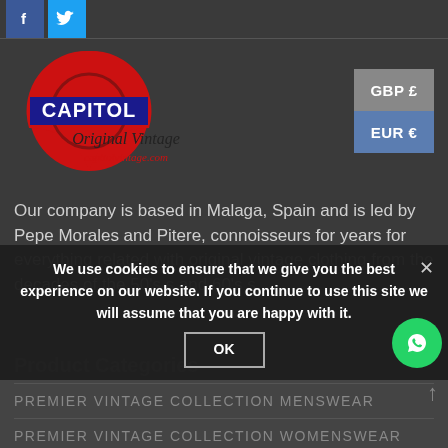[Figure (logo): Facebook and Twitter social media icons at the top]
[Figure (logo): Capitol Original Vintage logo with red circle/underground style emblem, text 'Original Vintage' and 'capitolvintage.com']
GBP £
EUR €
Our company is based in Malaga, Spain and is led by Pepe Morales and Pitere, connoisseurs for years for everything related with original vintage clothing from the decades of the 50's s and 60's s.
We use cookies to ensure that we give you the best experience on our website. If you continue to use this site we will assume that you are happy with it.
Product Categories
PREMIER VINTAGE COLLECTION MENSWEAR
PREMIER VINTAGE COLLECTION WOMENSWEAR